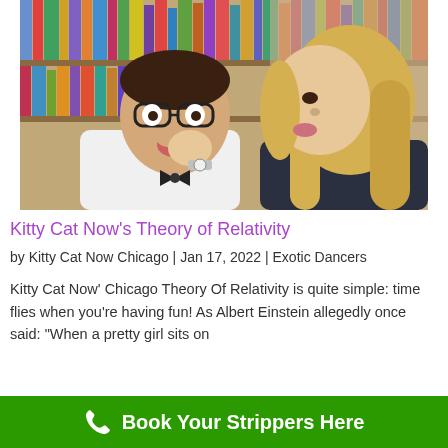[Figure (photo): A young man with glasses and bow tie looking surprised while a blonde woman kisses his cheek in a library setting]
Kitty Cat Now's Theory of Relativity
by Kitty Cat Now Chicago | Jan 17, 2022 | Exotic Dancers
Kitty Cat Now' Chicago Theory Of Relativity is quite simple: time flies when you're having fun! As Albert Einstein allegedly once said: "When a pretty girl sits on
Book Your Strippers Here